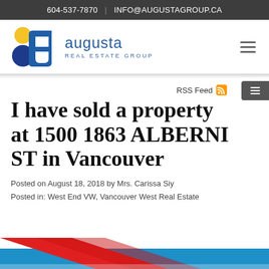604-537-7870 | INFO@AUGUSTAGROUP.CA
[Figure (logo): Augusta Real Estate Group logo with stylized letter A and colored circles (yellow and blue), with the text 'augusta REAL ESTATE GROUP']
RSS Feed
I have sold a property at 1500 1863 ALBERNI ST in Vancouver
Posted on August 18, 2018 by Mrs. Carissa Siy
Posted in: West End VW, Vancouver West Real Estate
[Figure (photo): Bottom portion of a property image showing red and blue diagonal stripes/banner]